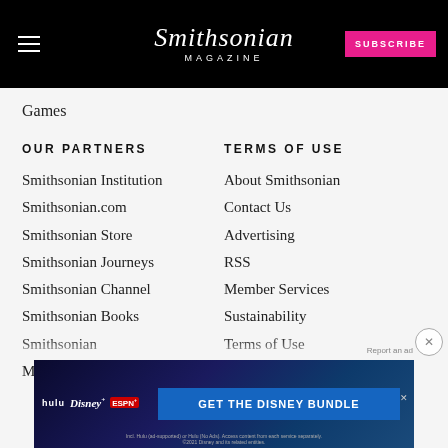Smithsonian Magazine
Games
OUR PARTNERS
Smithsonian Institution
Smithsonian.com
Smithsonian Store
Smithsonian Journeys
Smithsonian Channel
Smithsonian Books
Smithsonian
Membership
TERMS OF USE
About Smithsonian
Contact Us
Advertising
RSS
Member Services
Sustainability
Terms of Use
Privacy Statement
Cookie Policy
Advertising...
[Figure (other): Disney Bundle advertisement banner with Hulu, Disney+, ESPN+ logos and GET THE DISNEY BUNDLE call to action]